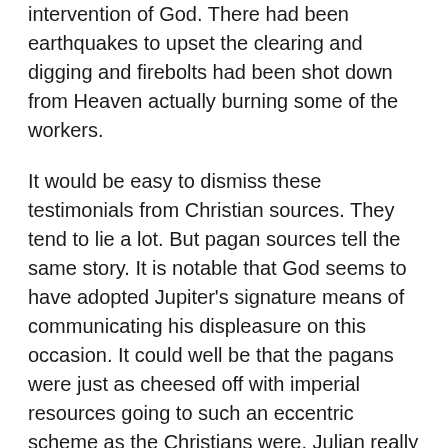intervention of God. There had been earthquakes to upset the clearing and digging and firebolts had been shot down from Heaven actually burning some of the workers.
It would be easy to dismiss these testimonials from Christian sources. They tend to lie a lot. But pagan sources tell the same story. It is notable that God seems to have adopted Jupiter's signature means of communicating his displeasure on this occasion. It could well be that the pagans were just as cheesed off with imperial resources going to such an eccentric scheme as the Christians were. Julian really was one of a kind and it is hard to imagine anyone else conceiving of the idea in the first place, let alone actually instigating it. Julian's promise to return to share in the worship at the newly consecrated temple was never to be fulfilled. But like much of his life, it is almost impossible not to speculate what might have happened if he had succeeded. A Jewish temple that survived the fall of the empire and which lasted to the present day would